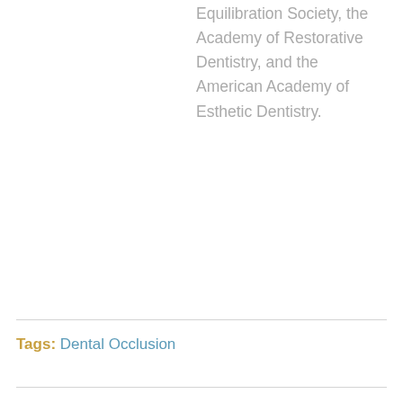Equilibration Society, the Academy of Restorative Dentistry, and the American Academy of Esthetic Dentistry.
Tags: Dental Occlusion
Kamala Kakumanu 12/7/2016, 3:55:41 PM
Only Dr Dawson can simplify anterior guidance to this level.
In open bite cases , as answered that mostly tongue is compensating the anterior guidance and only when condyles break